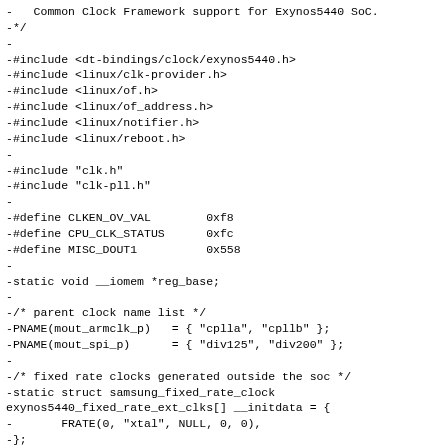-   Common Clock Framework support for Exynos5440 SoC.
-*/
-
-#include <dt-bindings/clock/exynos5440.h>
-#include <linux/clk-provider.h>
-#include <linux/of.h>
-#include <linux/of_address.h>
-#include <linux/notifier.h>
-#include <linux/reboot.h>
-
-#include "clk.h"
-#include "clk-pll.h"
-
-#define CLKEN_OV_VAL        0xf8
-#define CPU_CLK_STATUS      0xfc
-#define MISC_DOUT1          0x558
-
-static void __iomem *reg_base;
-
-/* parent clock name list */
-PNAME(mout_armclk_p)   = { "cplla", "cpllb" };
-PNAME(mout_spi_p)      = { "div125", "div200" };
-
-/* fixed rate clocks generated outside the soc */
-static struct samsung_fixed_rate_clock
exynos5440_fixed_rate_ext_clks[] __initdata = {
-       FRATE(0, "xtal", NULL, 0, 0),
-};
-
-/* fixed rate clocks */
-static const struct samsung_fixed_rate_clock